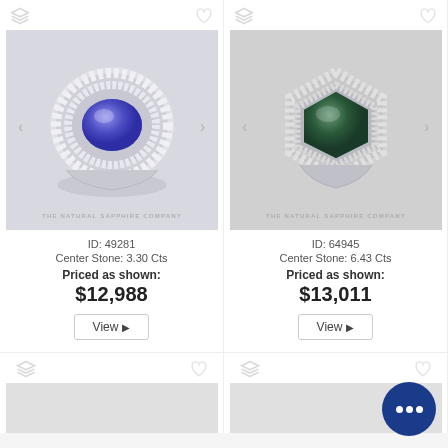[Figure (photo): Blue sapphire oval diamond halo ring on white background, The Natural Sapphire Company]
ID: 49281
Center Stone: 3.30 Cts
Priced as shown:
$12,988
[Figure (photo): Green sapphire hexagonal diamond halo ring on white background, The Natural Sapphire Company]
ID: 64945
Center Stone: 6.43 Cts
Priced as shown:
$13,011
[Figure (photo): Partial view of ring product cards at bottom of page]
[Figure (illustration): Chat support bubble icon with three dots, dark blue circle, bottom right corner]